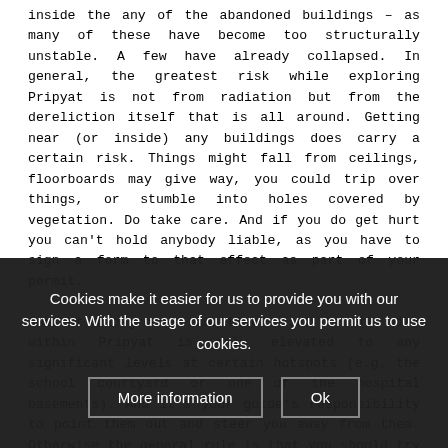inside the any of the abandoned buildings – as many of these have become too structurally unstable. A few have already collapsed. In general, the greatest risk while exploring Pripyat is not from radiation but from the dereliction itself that is all around. Getting near (or inside) any buildings does carry a certain risk. Things might fall from ceilings, floorboards may give way, you could trip over things, or stumble into holes covered by vegetation. Do take care. And if you do get hurt you can't hold anybody liable, as you have to sign a form to that effect as part of your permit.
Ambient background radiation (i.e. in the air) within Pripyat is only elevated to any significant levels at certain hotspots (e.g. the school courtyard or one of the hospital basements). And it's your guide's responsibility to point them out and steer you away from them. Otherwise the general rule is that you should try and stay on
Cookies make it easier for us to provide you with our services. With the usage of our services you permit us to use cookies.